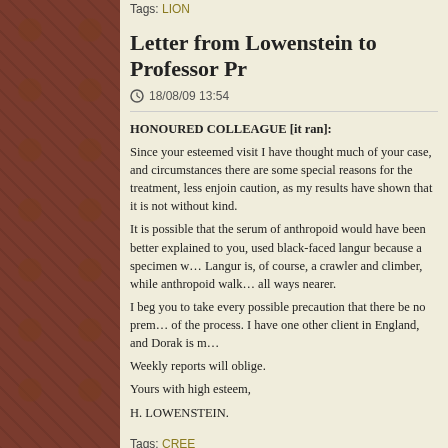Tags: LION
Letter from Lowenstein to Professor Pr…
18/08/09 13:54
HONOURED COLLEAGUE [it ran]: Since your esteemed visit I have thought much of your case, and circumstances there are some special reasons for the treatment, less enjoin caution, as my results have shown that it is not without kind. It is possible that the serum of anthropoid would have been better explained to you, used black-faced langur because a specimen w… Langur is, of course, a crawler and climber, while anthropoid walk… all ways nearer. I beg you to take every possible precaution that there be no prem… of the process. I have one other client in England, and Dorak is m… Weekly reports will oblige. Yours with high esteem, H. LOWENSTEIN.
Tags: CREE